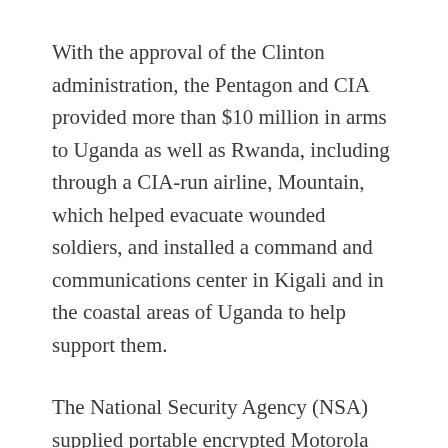With the approval of the Clinton administration, the Pentagon and CIA provided more than $10 million in arms to Uganda as well as Rwanda, including through a CIA-run airline, Mountain, which helped evacuate wounded soldiers, and installed a command and communications center in Kigali and in the coastal areas of Uganda to help support them.
The National Security Agency (NSA) supplied portable encrypted Motorola satellite phones from which Rwandan and Ugandan military commanders could receive advice and intelligence from the U.S. government and CIA, provided satellite imagery of refugee